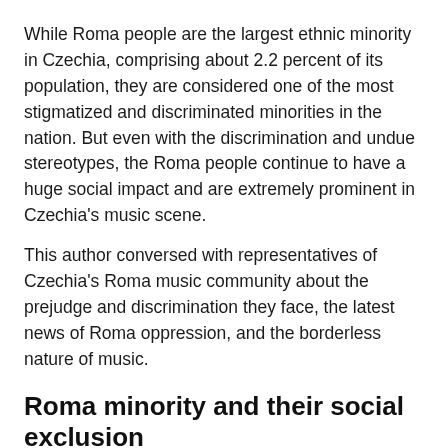While Roma people are the largest ethnic minority in Czechia, comprising about 2.2 percent of its population, they are considered one of the most stigmatized and discriminated minorities in the nation. But even with the discrimination and undue stereotypes, the Roma people continue to have a huge social impact and are extremely prominent in Czechia's music scene.
This author conversed with representatives of Czechia's Roma music community about the prejudge and discrimination they face, the latest news of Roma oppression, and the borderless nature of music.
Roma minority and their social exclusion
Anti-Roma discrimination was brought to the forefront last month after a Romany man was killed by the police on June 19. The death triggered a wave of turmoil and protests within